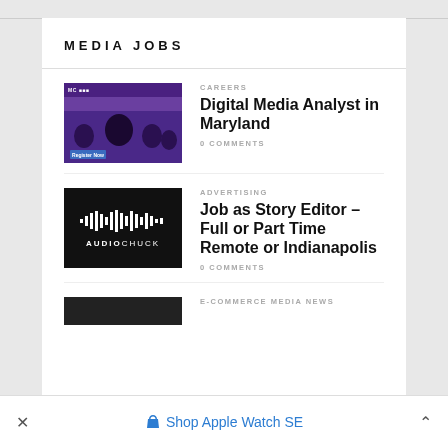MEDIA JOBS
[Figure (photo): Graduation photo thumbnail with purple/maroon university branding and 'Register Now' button]
CAREERS
Digital Media Analyst in Maryland
0 COMMENTS
[Figure (logo): AudioChuck logo on black background with audio waveform graphic]
ADVERTISING
Job as Story Editor – Full or Part Time Remote or Indianapolis
0 COMMENTS
[Figure (photo): Partial dark thumbnail image, category E-COMMERCE MEDIA NEWS visible]
E-COMMERCE MEDIA NEWS
× Shop Apple Watch SE ^